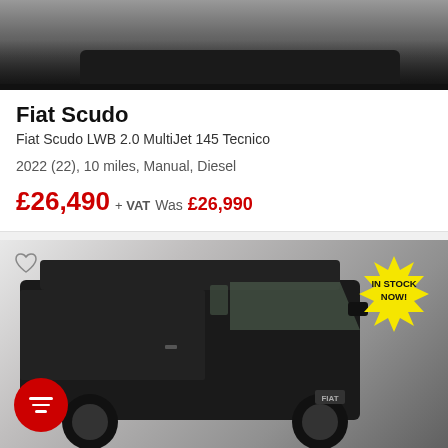[Figure (photo): Top portion of a van/vehicle photo, dark background, partial view]
Fiat Scudo
Fiat Scudo LWB 2.0 MultiJet 145 Tecnico
2022 (22), 10 miles, Manual, Diesel
£26,490 + VAT Was £26,990
[Figure (photo): Black Fiat Ducato large van, front three-quarter view, with 'IN STOCK NOW!' starburst badge top right and a red filter button bottom left]